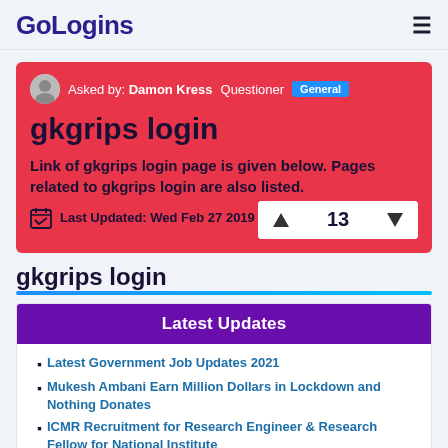GoLogins
Asked by: Damon Kress  Questioner  General
gkgrips login
Link of gkgrips login page is given below. Pages related to gkgrips login are also listed.
Last Updated: Wed Feb 27 2019
13
gkgrips login
Latest Updates
Latest Government Job Updates 2021
Mukesh Ambani Earn Million Dollars in Lockdown and Nothing Donates
ICMR Recruitment for Research Engineer & Research Fellow for National Institute